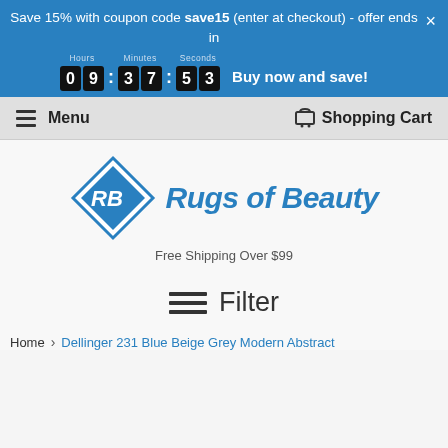Save 15% with coupon code save15 (enter at checkout) - offer ends in 09:37:53 Buy now and save!
Menu   Shopping Cart
[Figure (logo): Rugs of Beauty logo with blue diamond shape containing RB initials and italic blue text 'Rugs of Beauty']
Free Shipping Over $99
Filter
Home › Dellinger 231 Blue Beige Grey Modern Abstract